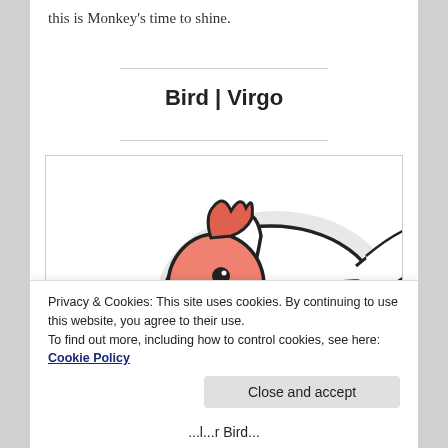this is Monkey's time to shine.
Bird | Virgo
[Figure (illustration): Cartoon illustration of a rooster/chicken with a red comb, orange beak (yellow tip), salmon-pink face and neck, white body feathers, on a light gray background. Only the head and upper body are visible, cropped by the image boundary.]
Privacy & Cookies: This site uses cookies. By continuing to use this website, you agree to their use.
To find out more, including how to control cookies, see here: Cookie Policy
Close and accept